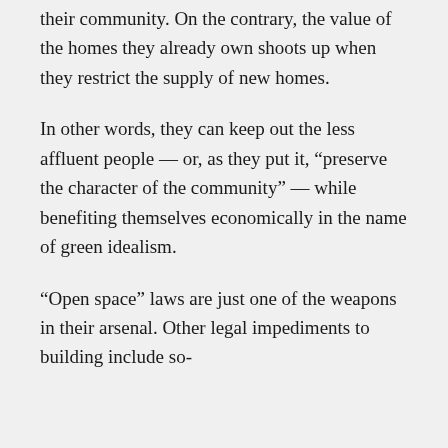their community. On the contrary, the value of the homes they already own shoots up when they restrict the supply of new homes.
In other words, they can keep out the less affluent people — or, as they put it, “preserve the character of the community” — while benefiting themselves economically in the name of green idealism.
“Open space” laws are just one of the weapons in their arsenal. Other legal impediments to building include so-